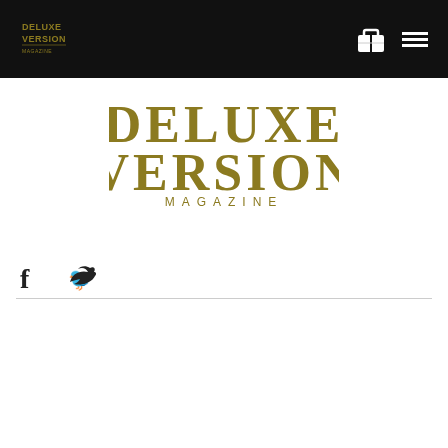Deluxe Version Magazine — header bar with logo and navigation icons
[Figure (logo): Deluxe Version Magazine large centered logo in gold/olive color]
[Figure (illustration): Social media icons: Facebook f and Twitter bird, dark colored]
[Figure (other): Horizontal divider line]